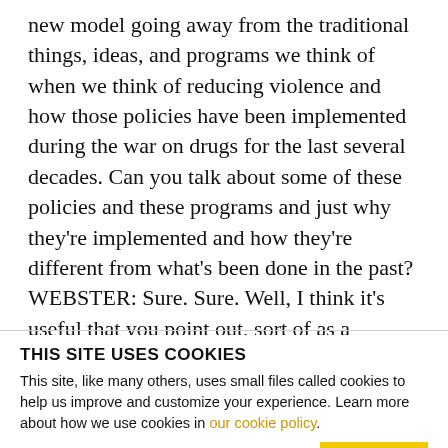new model going away from the traditional things, ideas, and programs we think of when we think of reducing violence and how those policies have been implemented during the war on drugs for the last several decades. Can you talk about some of these policies and these programs and just why they're implemented and how they're different from what's been done in the past? WEBSTER: Sure. Sure. Well, I think it's useful that you point out, sort of as a reference point, a very important reference point for Baltimore, which is sort of the war-on-drugs
THIS SITE USES COOKIES
This site, like many others, uses small files called cookies to help us improve and customize your experience. Learn more about how we use cookies in our cookie policy.
Learn more about cookies   OK